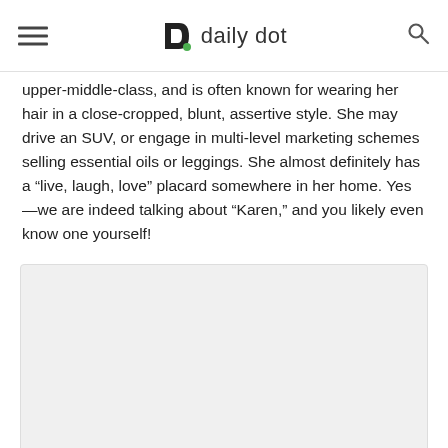daily dot
upper-middle-class, and is often known for wearing her hair in a close-cropped, blunt, assertive style. She may drive an SUV, or engage in multi-level marketing schemes selling essential oils or leggings. She almost definitely has a “live, laugh, love” placard somewhere in her home. Yes—we are indeed talking about “Karen,” and you likely even know one yourself!
[Figure (other): Advertisement placeholder box with light gray background]